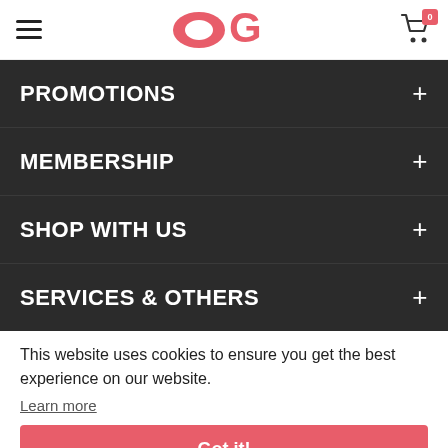OG (logo), hamburger menu, cart with 0 items
PROMOTIONS +
MEMBERSHIP +
SHOP WITH US +
SERVICES & OTHERS +
OG ALBERT
60 Albert Street
Singapore
(65) 6210 2222
This website uses cookies to ensure you get the best experience on our website.
Learn more
Got it!
View Map
$55.20  Add to Cart